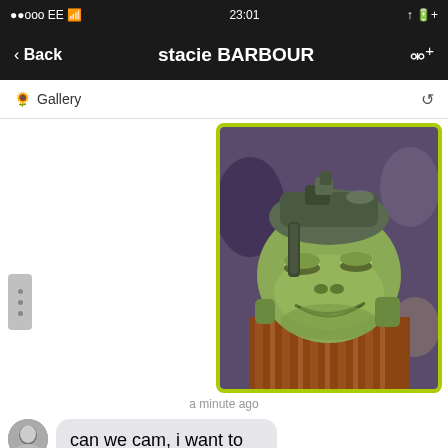••ooo EE  23:01
< Back   stacie BARBOUR
Gallery
[Figure (screenshot): Photo of a CGI alien creature character with green skin wearing a metallic helmet, smiling — appears to be a Star Wars character (Watto or similar). Shared in a WeChat/messaging app gallery message bubble with a yellow-green border.]
a minute ago
can we cam, i want to rub my clit talking to you